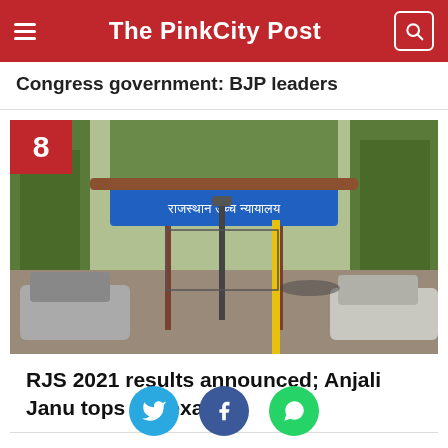The PinkCity Post
Congress government: BJP leaders
[Figure (photo): Entrance gate of Rajasthan High Court with Hindi signage 'राजस्थान उच्च न्यायालय', trees on both sides, cars parked in front]
RJS 2021 results announced; Anjali Janu tops the exam